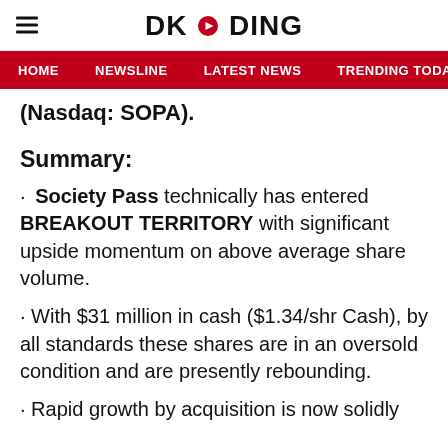DKODING
HOME  NEWSLINE  LATEST NEWS  TRENDING TODAY  ENT
(Nasdaq: SOPA).
Summary:
· Society Pass technically has entered BREAKOUT TERRITORY with significant upside momentum on above average share volume.
· With $31 million in cash ($1.34/shr Cash), by all standards these shares are in an oversold condition and are presently rebounding.
· Rapid growth by acquisition is now solidly...